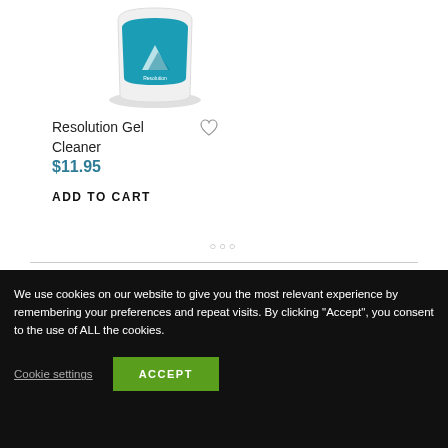[Figure (photo): Product image of Resolution Gel Cleaner bottle with teal/blue design]
Resolution Gel Cleaner
$11.95
ADD TO CART
We use cookies on our website to give you the most relevant experience by remembering your preferences and repeat visits. By clicking “Accept”, you consent to the use of ALL the cookies.
Cookie settings
ACCEPT